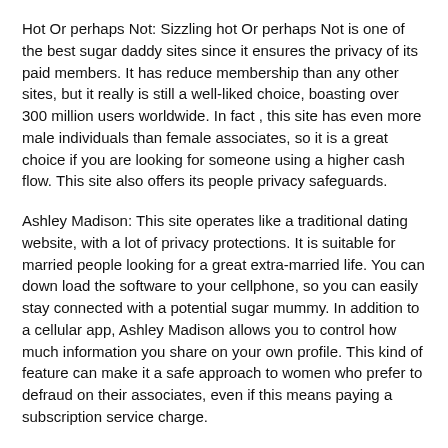Hot Or perhaps Not: Sizzling hot Or perhaps Not is one of the best sugar daddy sites since it ensures the privacy of its paid members. It has reduce membership than any other sites, but it really is still a well-liked choice, boasting over 300 million users worldwide. In fact , this site has even more male individuals than female associates, so it is a great choice if you are looking for someone using a higher cash flow. This site also offers its people privacy safeguards.
Ashley Madison: This site operates like a traditional dating website, with a lot of privacy protections. It is suitable for married people looking for a great extra-married life. You can down load the software to your cellphone, so you can easily stay connected with a potential sugar mummy. In addition to a cellular app, Ashley Madison allows you to control how much information you share on your own profile. This kind of feature can make it a safe approach to women who prefer to defraud on their associates, even if this means paying a subscription service charge.